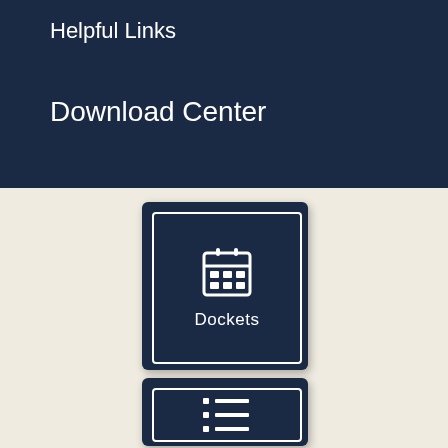Helpful Links
Download Center
[Figure (infographic): Dark navy card with calendar icon and label 'Dockets']
[Figure (infographic): Dark navy card with list icon and label 'Local Rules' (partially visible)]